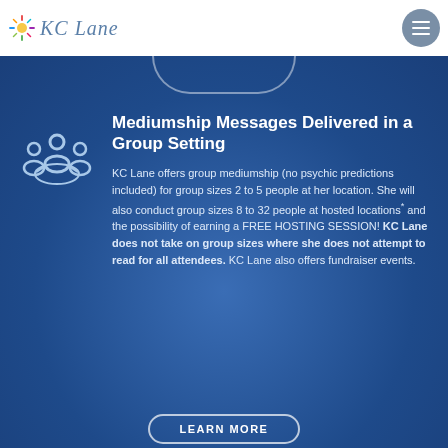KC Lane
Mediumship Messages Delivered in a Group Setting
KC Lane offers group mediumship (no psychic predictions included) for group sizes 2 to 5 people at her location. She will also conduct group sizes 8 to 32 people at hosted locations* and the possibility of earning a FREE HOSTING SESSION! KC Lane does not take on group sizes where she does not attempt to read for all attendees. KC Lane also offers fundraiser events.
LEARN MORE